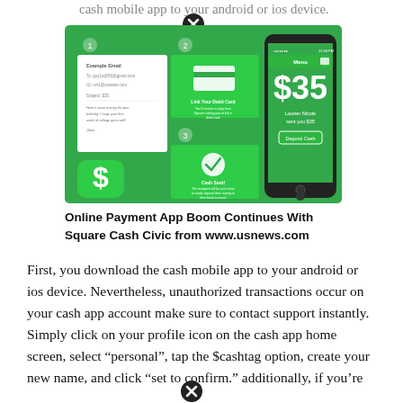cash mobile app to your android or ios device.
[Figure (screenshot): Screenshot of Square Cash / Cash App interface showing payment flow on mobile device with green background, dollar sign icon, email compose screen, 'Link Your Debit Card' step, 'Cash Sent!' confirmation step, and an iPhone showing $35 amount with 'Lauren Nicole sent you $35' and 'Deposit Cash' button.]
Online Payment App Boom Continues With Square Cash Civic from www.usnews.com
First, you download the cash mobile app to your android or ios device. Nevertheless, unauthorized transactions occur on your cash app account make sure to contact support instantly. Simply click on your profile icon on the cash app home screen, select “personal”, tap the $cashtag option, create your new name, and click “set to confirm.” additionally, if you’re